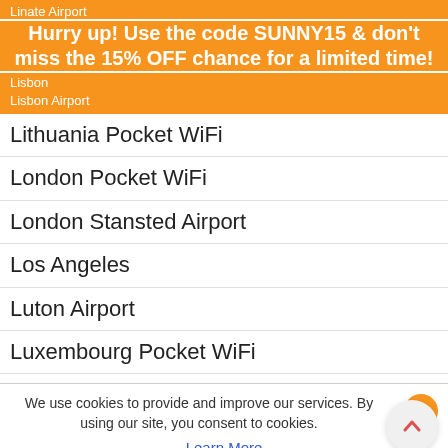Linate Airport
Hurry up! Use the code SUNNY15 & don't miss the 15% OFF chance for a limited time!
Lisbon
Lisbon Airport
Lithuania Pocket WiFi
London Pocket WiFi
London Stansted Airport
Los Angeles
Luton Airport
Luxembourg Pocket WiFi
Lyon
Lyon–Saint-Exupéry Airport
M
We use cookies to provide and improve our services. By using our site, you consent to cookies.
Learn More
Okay